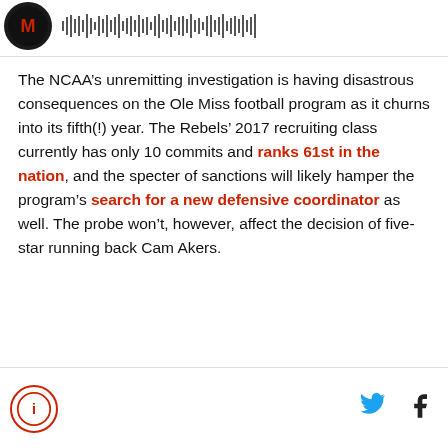[Podcast logo and audio waveform]
The NCAA’s unremitting investigation is having disastrous consequences on the Ole Miss football program as it churns into its fifth(!) year. The Rebels’ 2017 recruiting class currently has only 10 commits and ranks 61st in the nation, and the specter of sanctions will likely hamper the program’s search for a new defensive coordinator as well. The probe won’t, however, affect the decision of five-star running back Cam Akers.
[Site logo, Twitter icon, Facebook icon]